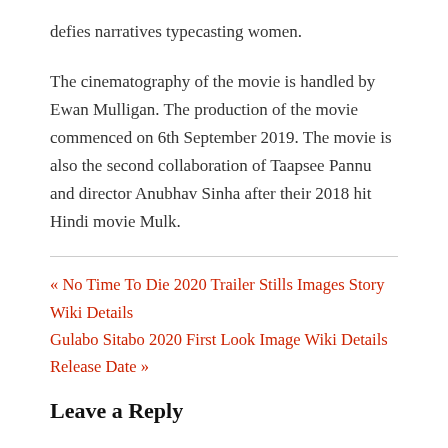defies narratives typecasting women.
The cinematography of the movie is handled by Ewan Mulligan. The production of the movie commenced on 6th September 2019. The movie is also the second collaboration of Taapsee Pannu and director Anubhav Sinha after their 2018 hit Hindi movie Mulk.
« No Time To Die 2020 Trailer Stills Images Story Wiki Details
Gulabo Sitabo 2020 First Look Image Wiki Details Release Date »
Leave a Reply